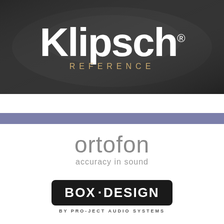[Figure (logo): Klipsch Reference logo on dark metallic background. Large white bold 'Klipsch' text with registered trademark symbol, and 'REFERENCE' in spaced gold/tan letters below.]
[Figure (logo): Ortofon logo: 'ortofon' in large light gray thin font, with tagline 'accuracy in sound' below in smaller gray text.]
[Figure (logo): Box Design logo: black rounded rectangle containing 'BOX·DESIGN' in white bold text, with 'BY PRO-JECT AUDIO SYSTEMS' text below in small spaced dark letters.]